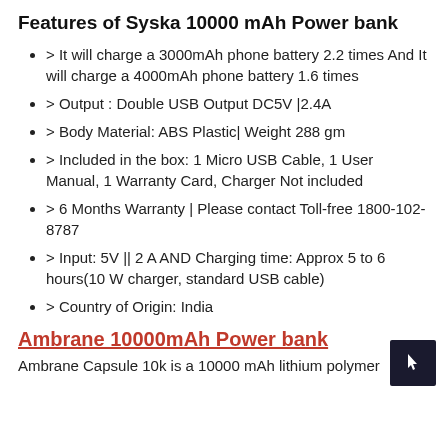Features of Syska 10000 mAh Power bank
> It will charge a 3000mAh phone battery 2.2 times And It will charge a 4000mAh phone battery 1.6 times
> Output : Double USB Output DC5V |2.4A
> Body Material: ABS Plastic| Weight 288 gm
> Included in the box: 1 Micro USB Cable, 1 User Manual, 1 Warranty Card, Charger Not included
> 6 Months Warranty | Please contact Toll-free 1800-102-8787
> Input: 5V || 2 A AND Charging time: Approx 5 to 6 hours(10 W charger, standard USB cable)
> Country of Origin: India
Ambrane 10000mAh Power bank
Ambrane Capsule 10k is a 10000 mAh lithium polymer